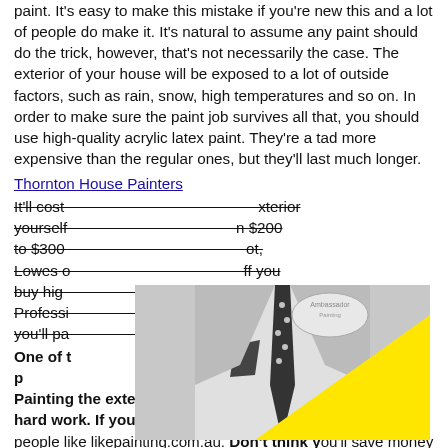paint. It's easy to make this mistake if you're new this and a lot of people do make it. It's natural to assume any paint should do the trick, however, that's not necessarily the case. The exterior of your house will be exposed to a lot of outside factors, such as rain, snow, high temperatures and so on. In order to make sure the paint job survives all that, you should use high-quality acrylic latex paint. They're a tad more expensive than the regular ones, but they'll last much longer.
Thornton House Painters
It'll cost you more to paint the exterior yourself... less than $200 to $300 per coat, Lowes or... if you buy high... Professional... of what you'll pa...
[Figure (photo): Black and white photo of a man in a suit with a polka-dot tie and pocket square, with a yellow triangle graphic overlay. Ambassador Painting logo visible.]
One of the... know it all. It's p... to ask for help. Painting the exterior of your house is time-consuming, hard work. If you can't do it, there are people that can – people like likepainting.com.au. Don't think you'll save money by not hiring a professional to do the job. You won't. Unless you know what you're doing, you're going to end up with a subpar paint job. That's a waste of both time and money. On top of all that, eventually you'll have to hire someone to fix the...